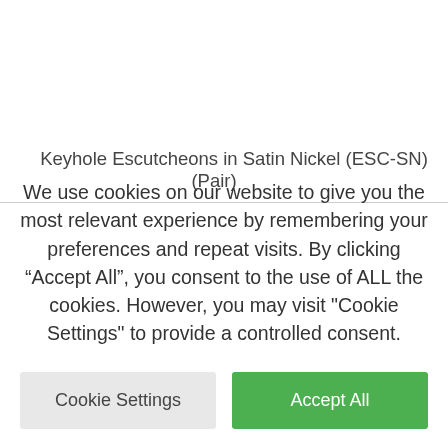Keyhole Escutcheons in Satin Nickel (ESC-SN) (Pair)
We use cookies on our website to give you the most relevant experience by remembering your preferences and repeat visits. By clicking “Accept All”, you consent to the use of ALL the cookies. However, you may visit "Cookie Settings" to provide a controlled consent.
Cookie Settings
Accept All